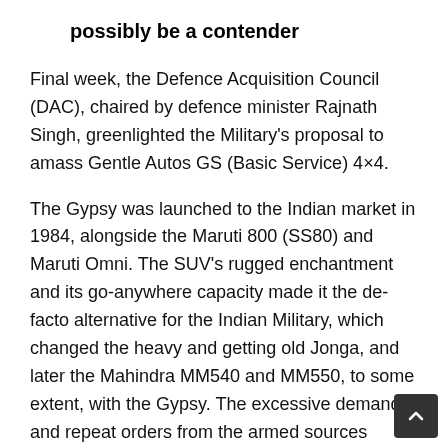possibly be a contender
Final week, the Defence Acquisition Council (DAC), chaired by defence minister Rajnath Singh, greenlighted the Military's proposal to amass Gentle Autos GS (Basic Service) 4×4.
The Gypsy was launched to the Indian market in 1984, alongside the Maruti 800 (SS80) and Maruti Omni. The SUV's rugged enchantment and its go-anywhere capacity made it the de-facto alternative for the Indian Military, which changed the heavy and getting old Jonga, and later the Mahindra MM540 and MM550, to some extent, with the Gypsy. The excessive demand and repeat orders from the armed sources meant that Maruti Suzuki continued supplying the SUV to the military until 2020, lengthy after the civilian model was axed as a result of new emission and security norms. The service lifetime of the Gypsy within the Indian military is round 15 years, which implies the alternative course of will likely be gradual and proceed t